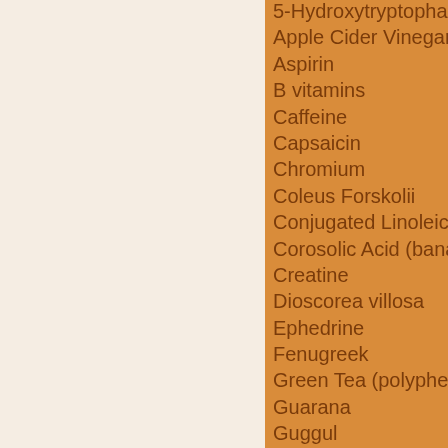5-Hydroxytryptophan (5-HTP)
Apple Cider Vinegar
Aspirin
B vitamins
Caffeine
Capsaicin
Chromium
Coleus Forskolii
Conjugated Linoleic Acid (CL…)
Corosolic Acid (banaba leaf)
Creatine
Dioscorea villosa
Ephedrine
Fenugreek
Green Tea (polyphenols)
Guarana
Guggul
Gymnema
HMB (beta Hydroxy-Methyl-B…)
Hydroxycitric Acid (HCA)
L-Carnitine
Lipotropics
Momordica Charantia (bitter m…)
Morinda citrifolia (Noni)
NADH
Naringin